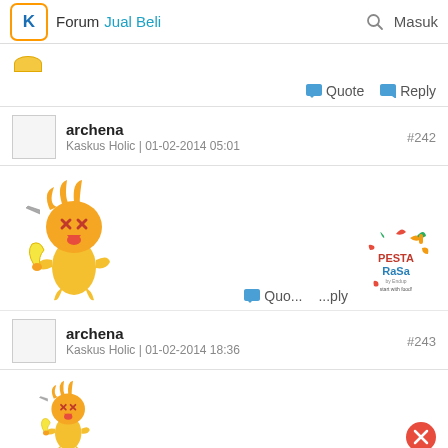Forum  Jual Beli   🔍 Masuk
Quote  Reply
archena
Kaskus Holic | 01-02-2014 05:01   #242
[Figure (illustration): Cartoon character emoji with X eyes and tongue out, yellow/orange body, holding a banana]
[Figure (logo): Pesta Rasa logo - colorful food festival logo with text 'Pesta Rasa by Endup, start with food!']
Quote  Reply
archena
Kaskus Holic | 01-02-2014 18:36   #243
[Figure (illustration): Cartoon character emoji with X eyes and tongue out, yellow/orange body, holding a banana]
[Figure (illustration): Red circle button (close/delete button) at bottom right corner]